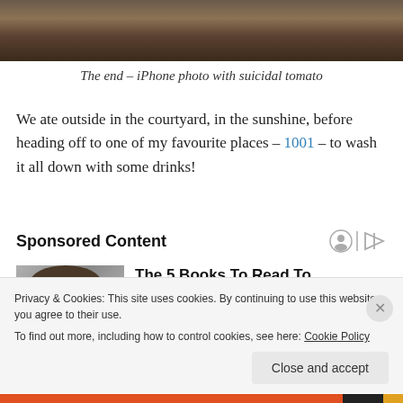[Figure (photo): Top portion of a photo showing what appears to be a stone courtyard surface with dark shadows and warm brown tones]
The end – iPhone photo with suicidal tomato
We ate outside in the courtyard, in the sunshine, before heading off to one of my favourite places – 1001 – to wash it all down with some drinks!
Sponsored Content
[Figure (photo): Partial photo of a person's face/head used in a sponsored content advertisement]
The 5 Books To Read To Transform Your Life in 2022
Privacy & Cookies: This site uses cookies. By continuing to use this website, you agree to their use.
To find out more, including how to control cookies, see here: Cookie Policy
Close and accept